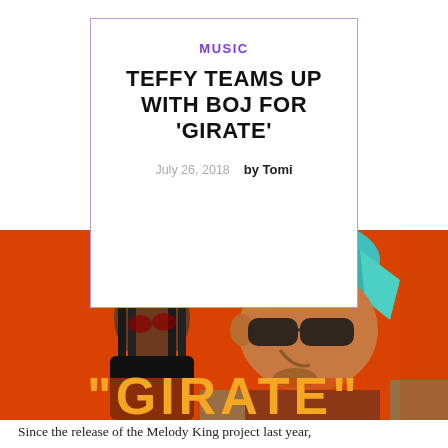MUSIC
TEFFY TEAMS UP WITH BOJ FOR 'GIRATE'
July 26, 2018   by Tomi
[Figure (illustration): Illustrated cover art for the song 'GIRATE' featuring two stylized figures (Teffy and BOJ) against an orange/red background. One figure wears a teal headwrap and sunglasses, the other wears a black hat and red-tinted glasses. Bold yellow text reads "GIRATE" at the bottom.]
Since the release of the Melody King project last year,